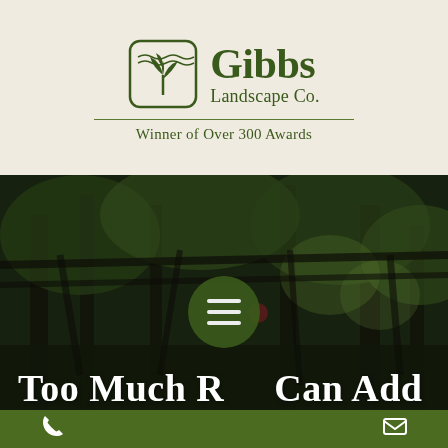[Figure (logo): Gibbs Landscape Co. logo with plant/leaf icon in rounded square, dark olive green color]
Gibbs Landscape Co.
Winner of Over 300 Awards
[Figure (photo): Lush garden path with tall trees forming a canopy, green foliage throughout, moody and dark atmospheric lighting]
Too Much R Can Add